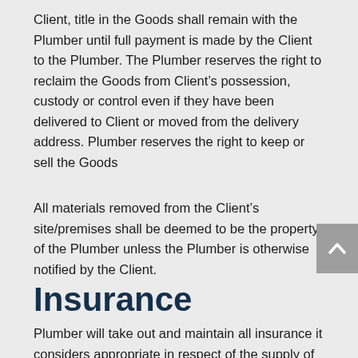Client, title in the Goods shall remain with the Plumber until full payment is made by the Client to the Plumber. The Plumber reserves the right to reclaim the Goods from Client's possession, custody or control even if they have been delivered to Client or moved from the delivery address. Plumber reserves the right to keep or sell the Goods
All materials removed from the Client's site/premises shall be deemed to be the property of the Plumber unless the Plumber is otherwise notified by the Client.
Insurance
Plumber will take out and maintain all insurance it considers appropriate in respect of the supply of Goods and Services and all other insurances